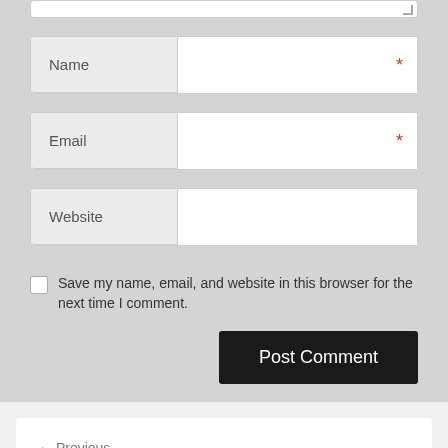[Figure (screenshot): Partial bottom of a textarea input field with resize handle]
[Figure (screenshot): Form input field labeled 'Name' with red asterisk indicating required field]
[Figure (screenshot): Form input field labeled 'Email' with red asterisk indicating required field]
[Figure (screenshot): Form input field labeled 'Website']
Save my name, email, and website in this browser for the next time I comment.
[Figure (screenshot): Post Comment button]
← Previous
This Story Behind Home Entertainment Will Haunt You